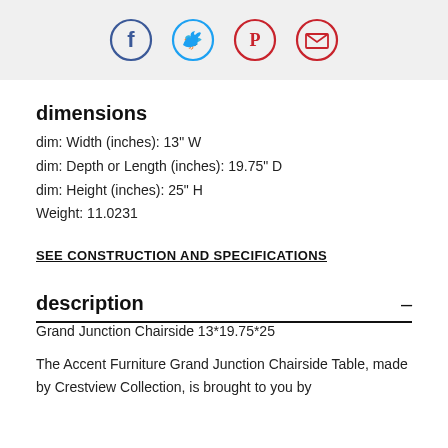[Social share icons: Facebook, Twitter, Pinterest, Email]
dimensions
dim: Width (inches): 13" W
dim: Depth or Length (inches): 19.75" D
dim: Height (inches): 25" H
Weight: 11.0231
SEE CONSTRUCTION AND SPECIFICATIONS
description
Grand Junction Chairside 13*19.75*25
The Accent Furniture Grand Junction Chairside Table, made by Crestview Collection, is brought to you by